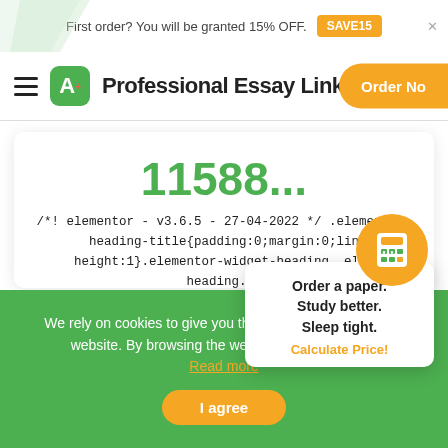First order? You will be granted 15% OFF.  SAVE15  ×
Professional Essay Links  Order Now
11588...
/*! elementor - v3.6.5 - 27-04-2022 */ .elementor-heading-title{padding:0;margin:0;line-height:1}.elementor-widget-heading .elem heading...
Order a paper. Study better. Sleep tight. Calculate Price!
We rely on cookies to give you the best experience on our website. By browsing the website, you agree to it. Read more
I agree